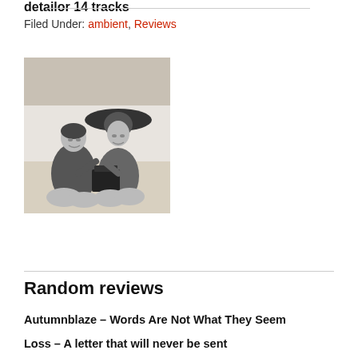detailor 14 tracks
Filed Under: ambient, Reviews
[Figure (photo): Black and white vintage photo of two young women in old-fashioned swimsuits sitting on a beach, one wearing a large wide-brimmed hat, with a gramophone or similar device between them.]
Random reviews
Autumnblaze – Words Are Not What They Seem
Loss – A letter that will never be sent